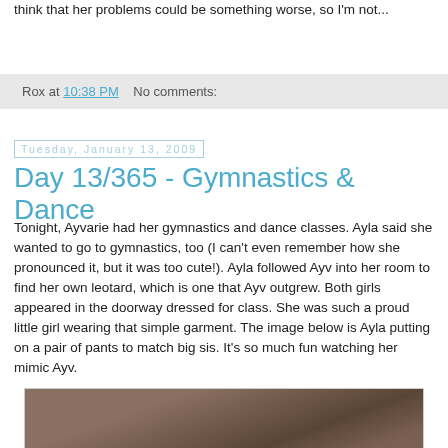think that her problems could be something worse, so I'm not...
Rox at 10:38 PM   No comments:
Tuesday, January 13, 2009
Day 13/365 - Gymnastics & Dance
Tonight, Ayvarie had her gymnastics and dance classes. Ayla said she wanted to go to gymnastics, too (I can't even remember how she pronounced it, but it was too cute!). Ayla followed Ayv into her room to find her own leotard, which is one that Ayv outgrew. Both girls appeared in the doorway dressed for class. She was such a proud little girl wearing that simple garment. The image below is Ayla putting on a pair of pants to match big sis. It's so much fun watching her mimic Ayv.
[Figure (photo): Blurred/dark photo of a child, brownish tones, partially visible at bottom of page]